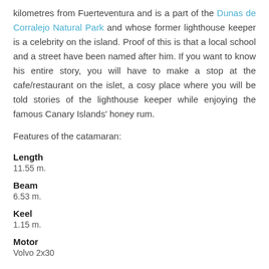kilometres from Fuerteventura and is a part of the Dunas de Corralejo Natural Park and whose former lighthouse keeper is a celebrity on the island. Proof of this is that a local school and a street have been named after him. If you want to know his entire story, you will have to make a stop at the cafe/restaurant on the islet, a cosy place where you will be told stories of the lighthouse keeper while enjoying the famous Canary Islands' honey rum.
Features of the catamaran:
Length
11.55 m.
Beam
6.53 m.
Keel
1.15 m.
Motor
Volvo 2x30